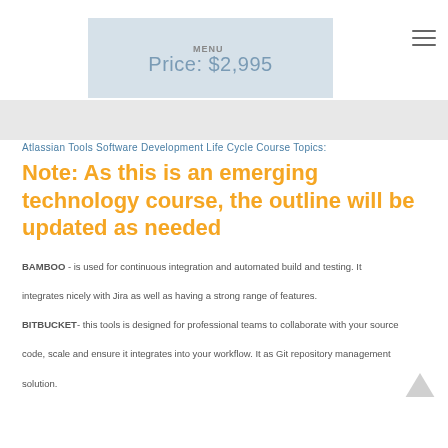[Figure (screenshot): Navigation header area with menu bar showing 'Price: $2,995' and hamburger menu icon]
Atlassian Tools Software Development Life Cycle Course Topics:
Note: As this is an emerging technology course, the outline will be updated as needed
BAMBOO - is used for continuous integration and automated build and testing. It integrates nicely with Jira as well as having a strong range of features.
BITBUCKET- this tools is designed for professional teams to collaborate with your source code, scale and ensure it integrates into your workflow. It as Git repository management solution.